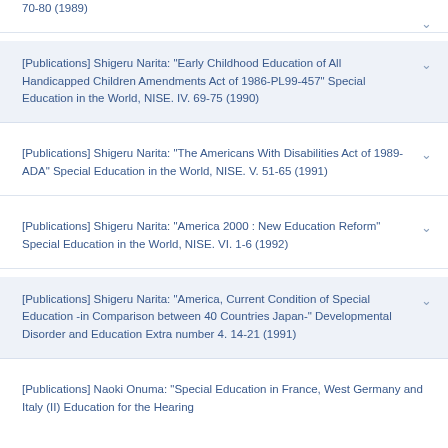[Publications] Shigeru Narita: "Early Childhood Education of All Handicapped Children Amendments Act of 1986-PL99-457" Special Education in the World, NISE. IV. 69-75 (1990)
[Publications] Shigeru Narita: "The Americans With Disabilities Act of 1989-ADA" Special Education in the World, NISE. V. 51-65 (1991)
[Publications] Shigeru Narita: "America 2000 : New Education Reform" Special Education in the World, NISE. VI. 1-6 (1992)
[Publications] Shigeru Narita: "America, Current Condition of Special Education -in Comparison between 40 Countries Japan-" Developmental Disorder and Education Extra number 4. 14-21 (1991)
[Publications] Naoki Onuma: "Special Education in France, West Germany and Italy (II) Education for the Hearing...